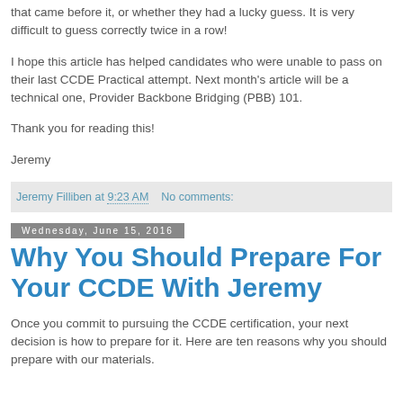that came before it, or whether they had a lucky guess. It is very difficult to guess correctly twice in a row!
I hope this article has helped candidates who were unable to pass on their last CCDE Practical attempt. Next month's article will be a technical one, Provider Backbone Bridging (PBB) 101.
Thank you for reading this!
Jeremy
Jeremy Filliben at 9:23 AM   No comments:
Wednesday, June 15, 2016
Why You Should Prepare For Your CCDE With Jeremy
Once you commit to pursuing the CCDE certification, your next decision is how to prepare for it. Here are ten reasons why you should prepare with our materials.